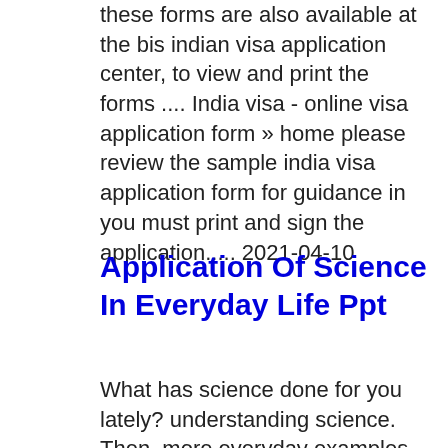these forms are also available at the bis indian visa application center, to view and print the forms .... India visa - online visa application form » home please review the sample india visa application form for guidance in you must print and sign the application..... 2021-04-10
Application Of Science In Everyday Life Ppt
What has science done for you lately? understanding science. Then, more everyday examples of the application of this science. 10 applications of biology...